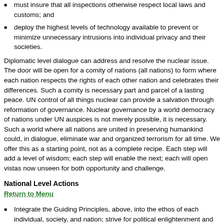must insure that all inspections otherwise respect local laws and customs; and
deploy the highest levels of technology available to prevent or minimize unnecessary intrusions into individual privacy and their societies.
Diplomatic level dialogue can address and resolve the nuclear issue. The door will be open for a comity of nations (all nations) to form where each nation respects the rights of each other nation and celebrates their differences. Such a comity is necessary part and parcel of a lasting peace. UN control of all things nuclear can provide a salvation through reformation of governance. Nuclear governance by a world democracy of nations under UN auspices is not merely possible, it is necessary. Such a world where all nations are united in preserving humankind could, in dialogue, eliminate war and organized terrorism for all time. We offer this as a starting point, not as a complete recipe. Each step will add a level of wisdom; each step will enable the next; each will open vistas now unseen for both opportunity and challenge.
National Level Actions
Return to Menu
Integrate the Guiding Principles, above, into the ethos of each individual, society, and nation; strive for political enlightenment and accommodation by moving toward the common good; replace special-interest groups with common-interest groups.
Begin dialogue between and among nations on the diplomatic level. This requires all sides to focus on common interests and issues, and to do so in an organized as well as a personal manner.
Ally with receptive nations sharing the above guiding principles and international actions.